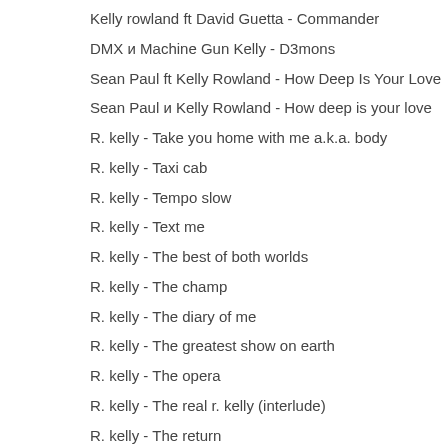Kelly rowland ft David Guetta - Commander
DMX и Machine Gun Kelly - D3mons
Sean Paul ft Kelly Rowland - How Deep Is Your Love
Sean Paul и Kelly Rowland - How deep is your love
R. kelly - Take you home with me a.k.a. body
R. kelly - Taxi cab
R. kelly - Tempo slow
R. kelly - Text me
R. kelly - The best of both worlds
R. kelly - The champ
R. kelly - The diary of me
R. kelly - The greatest show on earth
R. kelly - The opera
R. kelly - The real r. kelly (interlude)
R. kelly - The return
R. kelly - The return (remix)
R. kelly - The storm is over now
R. kelly - The streets
R. kelly - The zoo
R. kelly - Thoia thoing
R. kelly - Thoia thong
R. kelly - Tongues